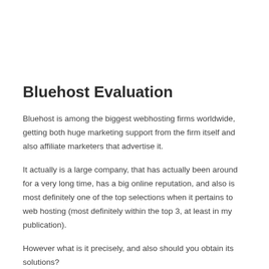Bluehost Evaluation
Bluehost is among the biggest webhosting firms worldwide, getting both huge marketing support from the firm itself and also affiliate marketers that advertise it.
It actually is a large company, that has actually been around for a very long time, has a big online reputation, and also is most definitely one of the top selections when it pertains to web hosting (most definitely within the top 3, at least in my publication).
However what is it precisely, and also should you obtain its solutions?